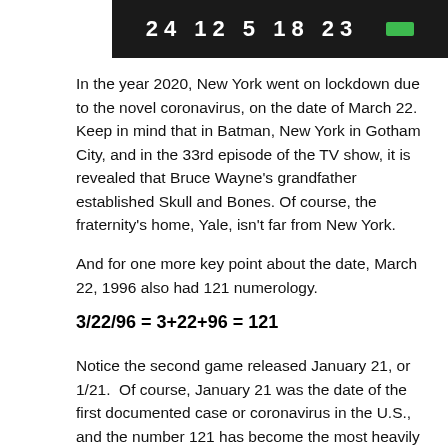[Figure (screenshot): Dark background screenshot showing numbers: 24 12 5 18 23 with a green indicator]
In the year 2020, New York went on lockdown due to the novel coronavirus, on the date of March 22. Keep in mind that in Batman, New York in Gotham City, and in the 33rd episode of the TV show, it is revealed that Bruce Wayne's grandfather established Skull and Bones. Of course, the fraternity's home, Yale, isn't far from New York.
And for one more key point about the date, March 22, 1996 also had 121 numerology.
Notice the second game released January 21, or 1/21.  Of course, January 21 was the date of the first documented case or coronavirus in the U.S., and the number 121 has become the most heavily coded number of the coronavirus outbreak ritual.  Read more about 121 here:  https://gematriaeffect.news/samoan-fruit-bat-will-be-featured-on-quarters-released-by-us-mint-january-12-2020-news-february-3-release/